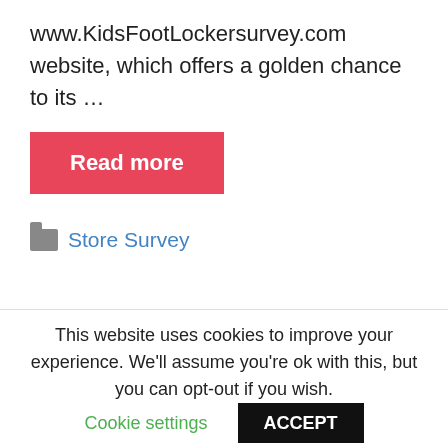www.KidsFootLockersurvey.com website, which offers a golden chance to its …
Read more
Store Survey
www.gotgolistons.com – GotGo
This website uses cookies to improve your experience. We'll assume you're ok with this, but you can opt-out if you wish.
Cookie settings   ACCEPT